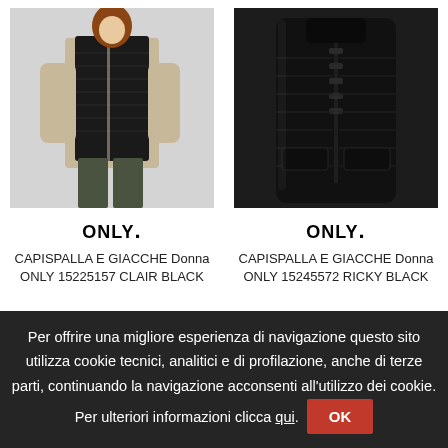[Figure (photo): Woman wearing a black quilted sleeveless puffer vest over a beige sweater with olive green trousers]
[Figure (photo): Black quilted sleeveless puffer vest product shot on white/dark background]
ONLY.
ONLY.
CAPISPALLA E GIACCHE Donna ONLY 15225157 CLAIR BLACK
CAPISPALLA E GIACCHE Donna ONLY 15245572 RICKY BLACK
Per offrire una migliore esperienza di navigazione questo sito utilizza cookie tecnici, analitici e di profilazione, anche di terze parti, continuando la navigazione acconsenti all'utilizzo dei cookie. Per ulteriori informazioni clicca qui. OK